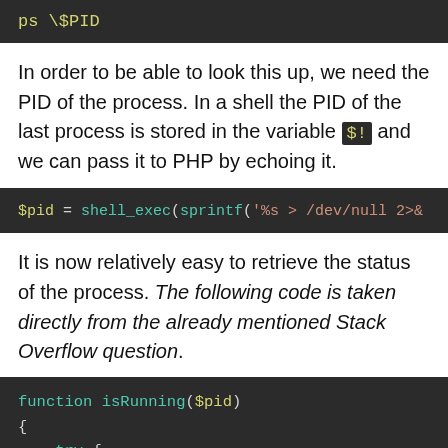[Figure (screenshot): Code block showing: ps \$PID in dark background with yellow-green text]
In order to be able to look this up, we need the PID of the process. In a shell the PID of the last process is stored in the variable $! and we can pass it to PHP by echoing it.
[Figure (screenshot): Code block showing: $pid = shell_exec(sprintf('%s > /dev/null 2>&amp;]
It is now relatively easy to retrieve the status of the process. The following code is taken directly from the already mentioned Stack Overflow question.
[Figure (screenshot): Code block showing: function isRunning($pid) { try {]